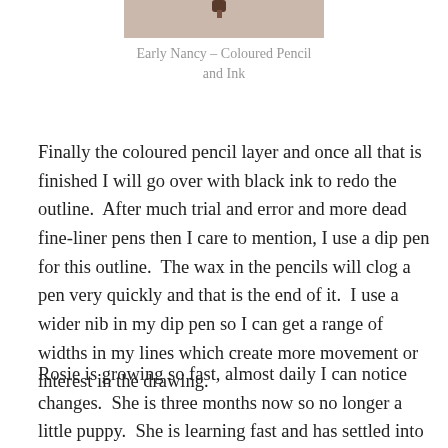[Figure (photo): Partial image of Early Nancy artwork — coloured pencil and ink, showing a small dark detail against a beige/tan background]
Early Nancy – Coloured Pencil and Ink
Finally the coloured pencil layer and once all that is finished I will go over with black ink to redo the outline.  After much trial and error and more dead fine-liner pens then I care to mention, I use a dip pen for this outline.  The wax in the pencils will clog a pen very quickly and that is the end of it.  I use a wider nib in my dip pen so I can get a range of widths in my lines which create more movement or interest in the drawing.
Rosie is growing so fast, almost daily I can notice changes.  She is three months now so no longer a little puppy.  She is learning fast and has settled into our family so well.  She is so gentle with Mum, who is getting very